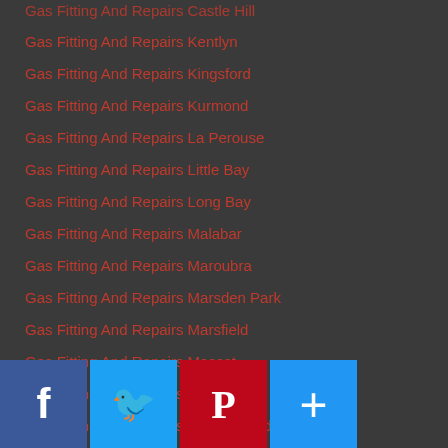Gas Fitting And Repairs Castle Hill
Gas Fitting And Repairs Kentlyn
Gas Fitting And Repairs Kingsford
Gas Fitting And Repairs Kurmond
Gas Fitting And Repairs La Perouse
Gas Fitting And Repairs Little Bay
Gas Fitting And Repairs Long Bay
Gas Fitting And Repairs Malabar
Gas Fitting And Repairs Maroubra
Gas Fitting And Repairs Marsden Park
Gas Fitting And Repairs Marsfield
Gas Fitting And Repairs Mascot
Gas Fitting And Repairs Matraville
Gas Fitting And Repairs Middle Head
Gas Fitting And Repairs Monash Park
Gas Fitting And Repairs Moore Park
Gas Fitting And Repairs Mortdale
Gas Fitting And Repairs Mount Druitt
Gas Fitting And Repairs Narellan
Gas Fitting And Repairs Oatley